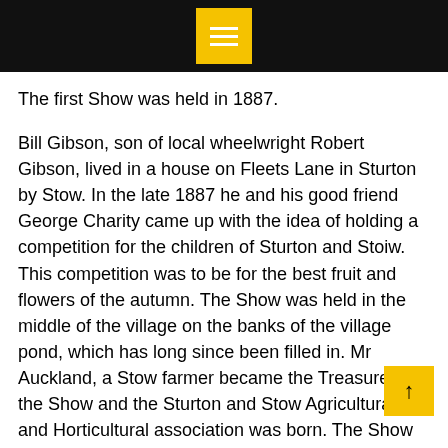[menu button]
The first Show was held in 1887.
Bill Gibson, son of local wheelwright Robert Gibson, lived in a house on Fleets Lane in Sturton by Stow. In the late 1887 he and his good friend George Charity came up with the idea of holding a competition for the children of Sturton and Stoiw. This competition was to be for the best fruit and flowers of the autumn. The Show was held in the middle of the village on the banks of the village pond, which has long since been filled in. Mr Auckland, a Stow farmer became the Treasurer of the Show and the Sturton and Stow Agricultural and Horticultural association was born. The Show became a popular annual event.
The Show has evolved over the years and has been